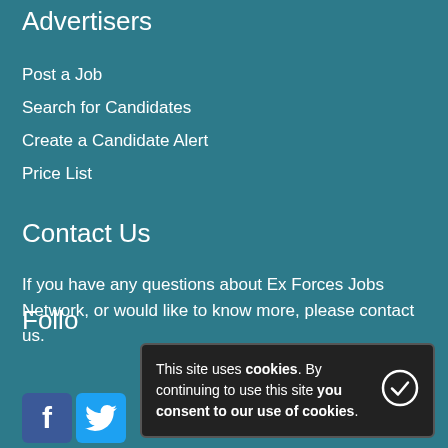Advertisers
Post a Job
Search for Candidates
Create a Candidate Alert
Price List
Contact Us
If you have any questions about Ex Forces Jobs Network, or would like to know more, please contact us.
Follo
This site uses cookies. By continuing to use this site you consent to our use of cookies.